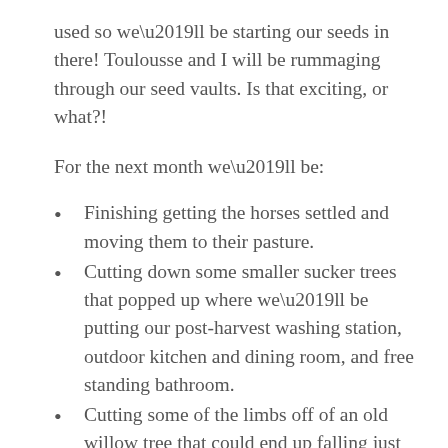used so we'll be starting our seeds in there! Toulousse and I will be rummaging through our seed vaults. Is that exciting, or what?!
For the next month we'll be:
Finishing getting the horses settled and moving them to their pasture.
Cutting down some smaller sucker trees that popped up where we'll be putting our post-harvest washing station, outdoor kitchen and dining room, and free standing bathroom.
Cutting some of the limbs off of an old willow tree that could end up falling just like the cottonwood tree. We'll save a good